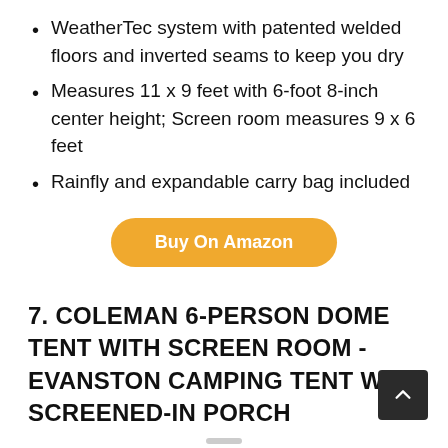WeatherTec system with patented welded floors and inverted seams to keep you dry
Measures 11 x 9 feet with 6-foot 8-inch center height; Screen room measures 9 x 6 feet
Rainfly and expandable carry bag included
Buy On Amazon
7. COLEMAN 6-PERSON DOME TENT WITH SCREEN ROOM - EVANSTON CAMPING TENT WITH SCREENED-IN PORCH